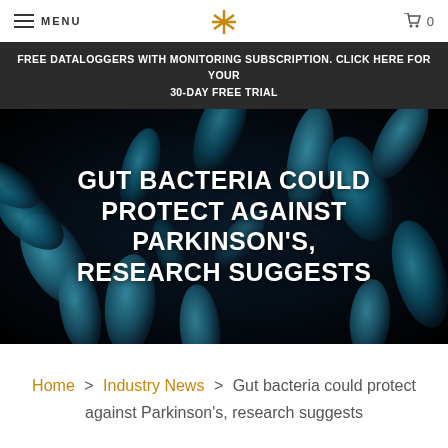MENU | [logo] | cart 0
FREE DATALOGGERS WITH MONITORING SUBSCRIPTION. CLICK HERE FOR YOUR 30-DAY FREE TRIAL
[Figure (photo): Close-up electron microscope image of blue gut bacteria (rod-shaped bacilli) on a black background, with large white bold text overlay reading: GUT BACTERIA COULD PROTECT AGAINST PARKINSON'S, RESEARCH SUGGESTS]
GUT BACTERIA COULD PROTECT AGAINST PARKINSON'S, RESEARCH SUGGESTS
Home > Industry News > Gut bacteria could protect against Parkinson's, research suggests